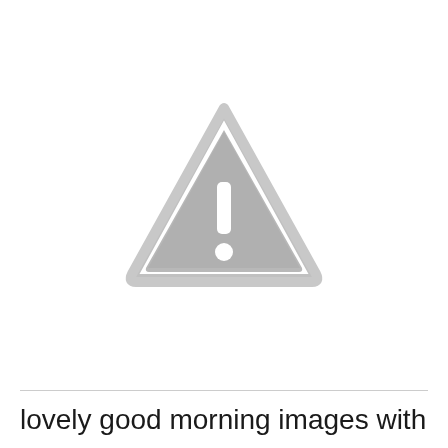[Figure (illustration): A warning/caution triangle icon with rounded corners, gray fill and border, containing a white exclamation mark (vertical bar and dot below) centered inside the triangle.]
lovely good morning images with